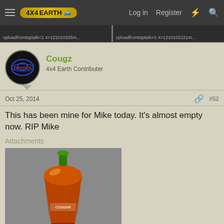4X4EARTH — Log in | Register
[Figure (screenshot): Two blurred image thumbnails in a dark strip showing partial file upload URLs]
Cougz
4x4 Earth Contributer
Oct 25, 2014
#52
This has been mine for Mike today. It's almost empty now. RIP Mike
Attachments
[Figure (photo): A bottle of liquor shaped like a large carrot with orange/brown coloring and a green cap, partially consumed]